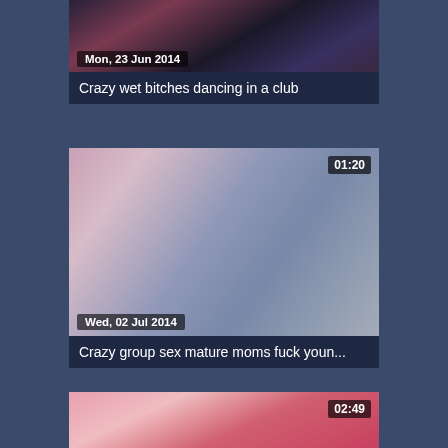[Figure (screenshot): Video thumbnail showing people at an event, partially visible at top]
Crazy wet bitches dancing in a club
[Figure (screenshot): Blurred video thumbnail, pink and blue tones, duration 01:20, dated Wed, 02 Jul 2014]
Crazy group sex mature moms fuck youn...
[Figure (screenshot): Video thumbnail showing a woman's face with heavy makeup against a pink background, duration 02:49, partially visible at bottom]